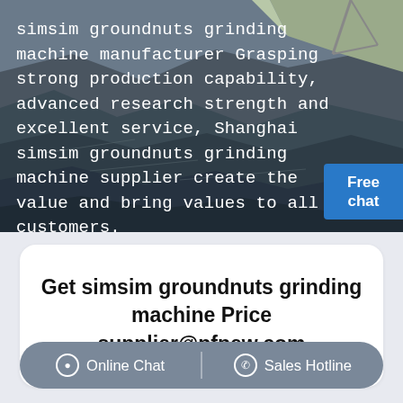[Figure (photo): Aerial view of a large open-pit mining or quarry site with heavy machinery, cranes, and dark rocky terrain. White overlay text describes simsim groundnuts grinding machine manufacturer.]
simsim groundnuts grinding machine manufacturer Grasping strong production capability, advanced research strength and excellent service, Shanghai simsim groundnuts grinding machine supplier create the value and bring values to all of customers.
Free chat
Get simsim groundnuts grinding machine Price supplier@pfpew.com
Online Chat | Sales Hotline